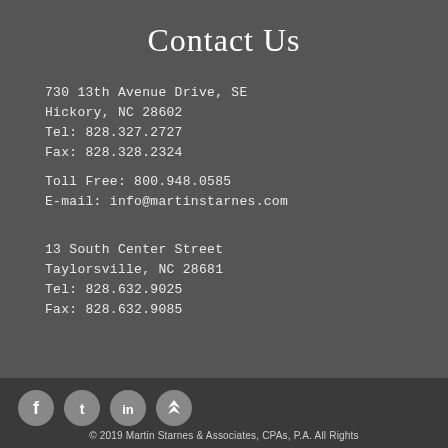Contact Us
730 13th Avenue Drive, SE
Hickory, NC 28602
Tel: 828.327.2727
Fax: 828.328.2324
Toll Free: 800.948.0585
E-mail: info@martinstarnes.com
13 South Center Street
Taylorsville, NC 28681
Tel: 828.632.9025
Fax: 828.632.9085
© 2019 Martin Starnes & Associates, CPAs, P.A. All Rights